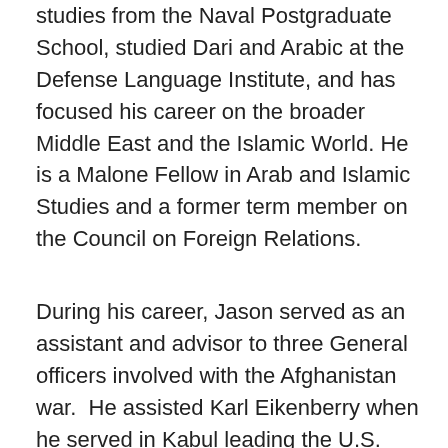studies from the Naval Postgraduate School, studied Dari and Arabic at the Defense Language Institute, and has focused his career on the broader Middle East and the Islamic World. He is a Malone Fellow in Arab and Islamic Studies and a former term member on the Council on Foreign Relations.
During his career, Jason served as an assistant and advisor to three General officers involved with the Afghanistan war.  He assisted Karl Eikenberry when he served in Kabul leading the U.S. effort to build the new Afghan National Army and to orchestrate the U.S. and UN-led Afghanistan Security Sector Reform (SSR) program.  He later assisted Stan McChrystal while he was evaluating and developing the new Afghan War strategy.  Finally, Jason assisted Sir Graeme Lamb as he